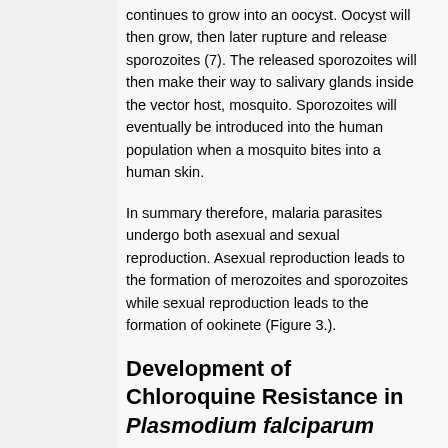continues to grow into an oocyst. Oocyst will then grow, then later rupture and release sporozoites (7). The released sporozoites will then make their way to salivary glands inside the vector host, mosquito. Sporozoites will eventually be introduced into the human population when a mosquito bites into a human skin.
In summary therefore, malaria parasites undergo both asexual and sexual reproduction. Asexual reproduction leads to the formation of merozoites and sporozoites while sexual reproduction leads to the formation of ookinete (Figure 3.).
Development of Chloroquine Resistance in Plasmodium falciparum
Drug resistance is the ability of a parasite to survive despite the presence of a drug that is meant to kill it in toxic levels. Resistance developed by most parasites that were initially